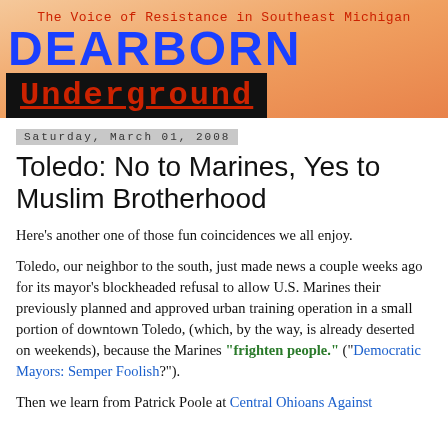[Figure (logo): Dearborn Underground blog header banner with orange gradient background, tagline 'The Voice of Resistance in Southeast Michigan', blue DEARBORN text, and red Underground text on black box]
Saturday, March 01, 2008
Toledo: No to Marines, Yes to Muslim Brotherhood
Here’s another one of those fun coincidences we all enjoy.
Toledo, our neighbor to the south, just made news a couple weeks ago for its mayor’s blockheaded refusal to allow U.S. Marines their previously planned and approved urban training operation in a small portion of downtown Toledo, (which, by the way, is already deserted on weekends), because the Marines “frighten people.” (“Democratic Mayors: Semper Foolish?”).
Then we learn from Patrick Poole at Central Ohioans Against